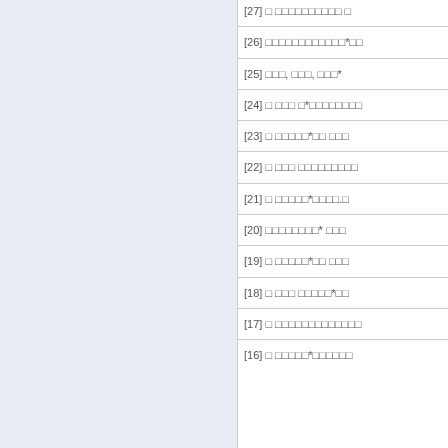[26] □□□□□□□□□□□□*□□
[25] □□□, □□□, □□□*
[24] □ □□□ □*□□□□□□□□
[23] □ □□□□□*□□ □□□
[22] □ □□□ □□□□□□□□□
[21] □ □□□□□*□□□□. □
[20] □□□□□□□□* □□□
[19] □ □□□□□*□□ □□□
[18] □ □□□ □□□□□*□□
[17] □ □□□□□□□□□□□□□
[16] □ □□□□□*□□□□□□